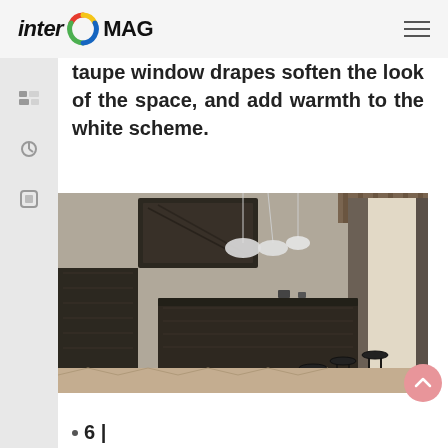inter MAG
taupe window drapes soften the look of the space, and add warmth to the white scheme.
[Figure (photo): Modern dark kitchen interior with dark wood cabinets, kitchen island with stools, pendant lights, and taupe window drapes, herringbone wood floor]
6 |